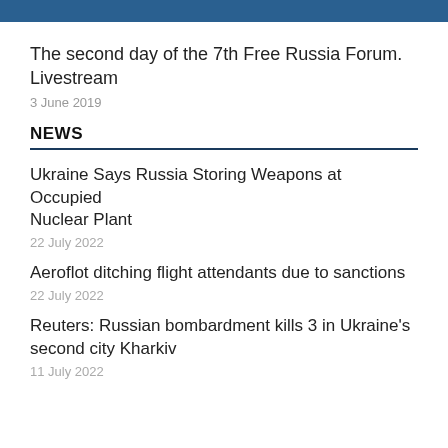The second day of the 7th Free Russia Forum. Livestream
3 June 2019
NEWS
Ukraine Says Russia Storing Weapons at Occupied Nuclear Plant
22 July 2022
Aeroflot ditching flight attendants due to sanctions
22 July 2022
Reuters: Russian bombardment kills 3 in Ukraine's second city Kharkiv
11 July 2022